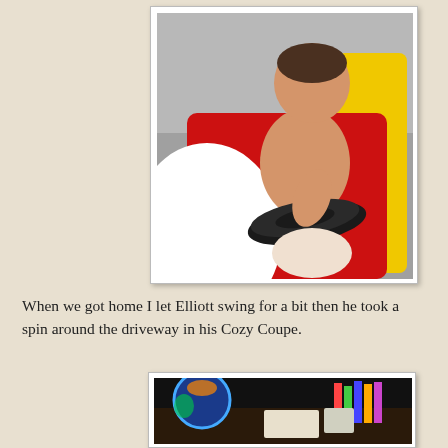[Figure (photo): Baby sitting in a red and yellow Cozy Coupe toy car, holding the black steering wheel, shirtless, on a driveway.]
When we got home I let Elliott swing for a bit then he took a spin around the driveway in his Cozy Coupe.
[Figure (photo): Indoor scene showing a colorful ball/globe and shelving unit in dark lighting.]